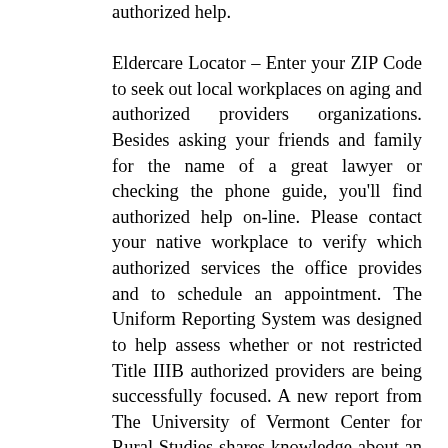authorized help. Eldercare Locator – Enter your ZIP Code to seek out local workplaces on aging and authorized providers organizations. Besides asking your friends and family for the name of a great lawyer or checking the phone guide, you'll find authorized help on-line. Please contact your native workplace to verify which authorized services the office provides and to schedule an appointment. The Uniform Reporting System was designed to help assess whether or not restricted Title IIIB authorized providers are being successfully focused. A new report from The University of Vermont Center for Rural Studies shares knowledge about an in